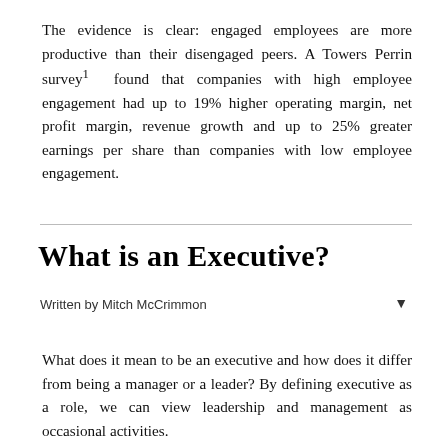The evidence is clear: engaged employees are more productive than their disengaged peers. A Towers Perrin survey¹ found that companies with high employee engagement had up to 19% higher operating margin, net profit margin, revenue growth and up to 25% greater earnings per share than companies with low employee engagement.
What is an Executive?
Written by Mitch McCrimmon
What does it mean to be an executive and how does it differ from being a manager or a leader? By defining executive as a role, we can view leadership and management as occasional activities.